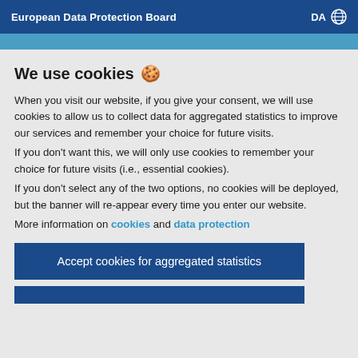European Data Protection Board  DA 🌐
We use cookies 🍪
When you visit our website, if you give your consent, we will use cookies to allow us to collect data for aggregated statistics to improve our services and remember your choice for future visits.
If you don't want this, we will only use cookies to remember your choice for future visits (i.e., essential cookies).
If you don't select any of the two options, no cookies will be deployed, but the banner will re-appear every time you enter our website.
More information on cookies and data protection
Accept cookies for aggregated statistics